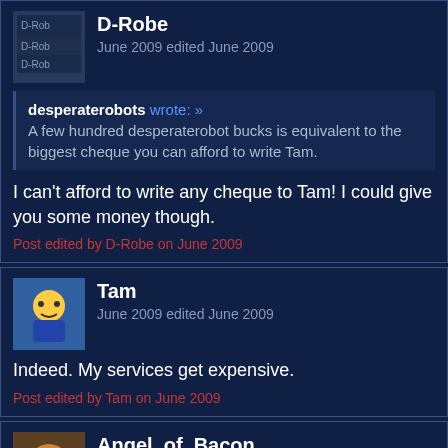D-Robe
June 2009 edited June 2009
desperaterobots wrote: » A few hundred desperaterobot bucks is equivalent to the biggest cheque you can afford to write Tam.
I can't afford to write any cheque to Tam! I could give you some money though.
Post edited by D-Robe on June 2009
Tam
June 2009 edited June 2009
Indeed. My services get expensive.
Post edited by Tam on June 2009
Angel_of_Bacon